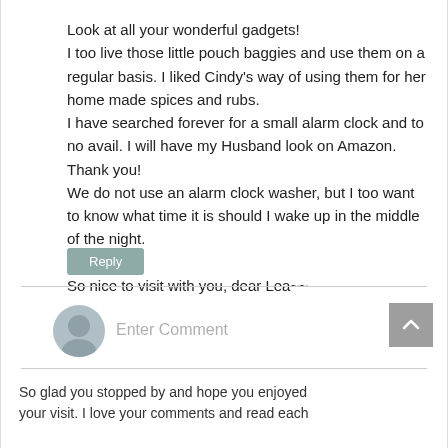Look at all your wonderful gadgets!
I too live those little pouch baggies and use them on a regular basis. I liked Cindy's way of using them for her home made spices and rubs.
I have searched forever for a small alarm clock and to no avail. I will have my Husband look on Amazon. Thank you!
We do not use an alarm clock washer, but I too want to know what time it is should I wake up in the middle of the night.

So nice to visit with you, dear Lea~~
Reply
Enter Comment
So glad you stopped by and hope you enjoyed your visit. I love your comments and read each...